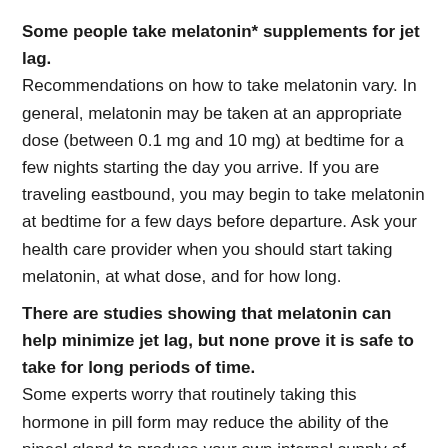Some people take melatonin* supplements for jet lag. Recommendations on how to take melatonin vary. In general, melatonin may be taken at an appropriate dose (between 0.1 mg and 10 mg) at bedtime for a few nights starting the day you arrive. If you are traveling eastbound, you may begin to take melatonin at bedtime for a few days before departure. Ask your health care provider when you should start taking melatonin, at what dose, and for how long.
There are studies showing that melatonin can help minimize jet lag, but none prove it is safe to take for long periods of time. Some experts worry that routinely taking this hormone in pill form may reduce the ability of the pineal gland to produce your own internal supply of melatonin. People who travel a great deal and use melatonin frequently are running unknown risks. In most instances, jet lag isn't serious enough to justify this type of risk. Talk to your doctor if you have concerns about